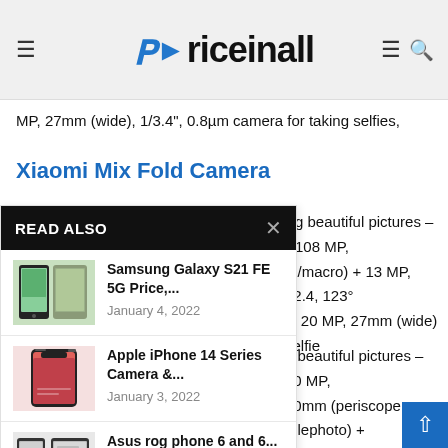Priceinall
MP, 27mm (wide), 1/3.4", 0.8µm camera for taking selfies,
Xiaomi Mix Fold Camera
g beautiful pictures – 108 MP, to/macro) + 13 MP, f/2.4, 123° ie 20 MP, 27mm (wide) selfie
[Figure (screenshot): READ ALSO panel with three article items: Samsung Galaxy S21 FE 5G Price (January 4, 2022), Apple iPhone 14 Series Camera & (January 3, 2022), Asus rog phone 6 and 6... (January 2, 2022)]
g beautiful pictures – 50 MP, 20mm (periscope telephoto) + le). Taking for Beautiful selfie mera.